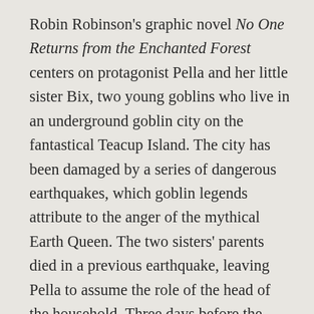Robin Robinson's graphic novel No One Returns from the Enchanted Forest centers on protagonist Pella and her little sister Bix, two young goblins who live in an underground goblin city on the fantastical Teacup Island. The city has been damaged by a series of dangerous earthquakes, which goblin legends attribute to the anger of the mythical Earth Queen. The two sisters' parents died in a previous earthquake, leaving Pella to assume the role of the head of the household. Three days before the annual Midsummer Festival, another earthquake strikes and almost collapses the underground cavern where the goblins reside. The city decides to cancel the Midsummer Festival and evacuate to the mountains on the far side of the island. Instead of joining the evacuation, goblin...